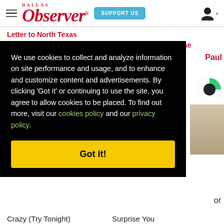Dallas Observer | SUPPORT US
Letter to North Texas
Some Musicians Don't Feel Safe in Deep Ellum These
Paul
We use cookies to collect and analyze information on site performance and usage, and to enhance and customize content and advertisements. By clicking 'Got it' or continuing to use the site, you agree to allow cookies to be placed. To find out more, visit our cookies policy and our privacy policy.
Got it!
or
Crazy (Try Tonight)
Surprise You